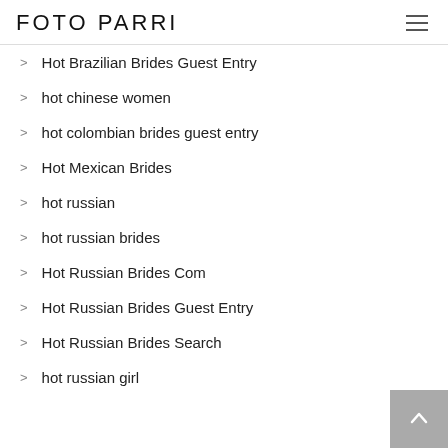FOTO PARRI
Hot Brazilian Brides Guest Entry
hot chinese women
hot colombian brides guest entry
Hot Mexican Brides
hot russian
hot russian brides
Hot Russian Brides Com
Hot Russian Brides Guest Entry
Hot Russian Brides Search
hot russian girl